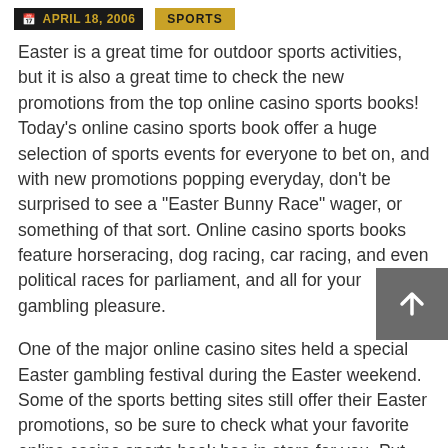APRIL 18, 2006 | SPORTS
Easter is a great time for outdoor sports activities, but it is also a great time to check the new promotions from the top online casino sports books! Today's online casino sports book offer a huge selection of sports events for everyone to bet on, and with new promotions popping everyday, don't be surprised to see a “Easter Bunny Race” wager, or something of that sort. Online casino sports books feature horseracing, dog racing, car racing, and even political races for parliament, and all for your gambling pleasure.
One of the major online casino sites held a special Easter gambling festival during the Easter weekend. Some of the sports betting sites still offer their Easter promotions, so be sure to check what your favorite online casino sports book has in store for you. Put your spring enthusiasm into the gambling games and have a sporty Easter online.
The holidays are a great time for vacation, but even if you cannot find the time for a temporary geographic relocation you can always visit your favorite online casino sports book, and at least